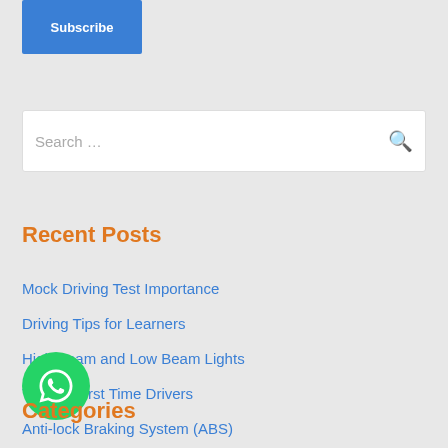Subscribe
Search …
Recent Posts
Mock Driving Test Importance
Driving Tips for Learners
High Beam and Low Beam Lights
Tips for First Time Drivers
Anti-lock Braking System (ABS)
Categories